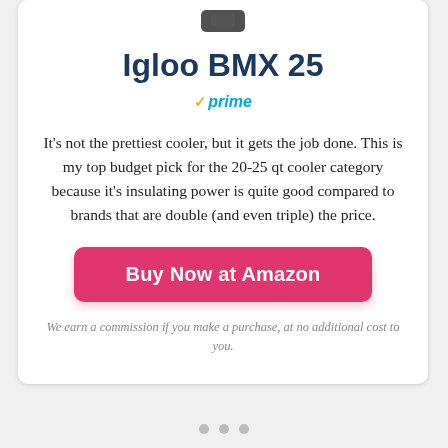Igloo BMX 25
[Figure (other): Amazon Prime badge with checkmark and 'prime' text]
It's not the prettiest cooler, but it gets the job done. This is my top budget pick for the 20-25 qt cooler category because it's insulating power is quite good compared to brands that are double (and even triple) the price.
Buy Now at Amazon
We earn a commission if you make a purchase, at no additional cost to you.